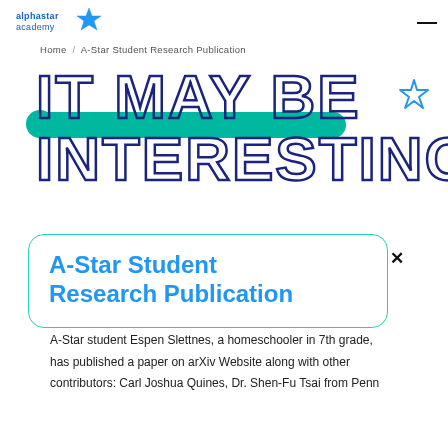alphastar academy [logo]
Home / A-Star Student Research Publication
IT MAY BE INTERESTING
A-Star Student Research Publication
A-Star student Espen Slettnes, a homeschooler in 7th grade, has published a paper on arXiv Website along with other contributors: Carl Joshua Quines, Dr. Shen-Fu Tsai from Penn